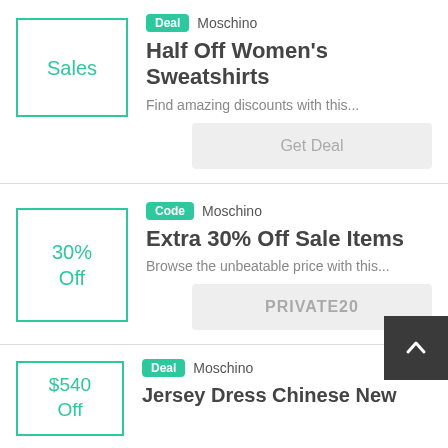[Figure (other): Sales icon box with teal border]
Deal  Moschino
Half Off Women's Sweatshirts
Find amazing discounts with this...
Get Deal
[Figure (other): 30% Off icon box with teal border]
Code  Moschino
Extra 30% Off Sale Items
Browse the unbeatable price with this...
PRIVATE20
[Figure (other): $540 Off icon box with teal border]
Deal  Moschino
Jersey Dress Chinese New